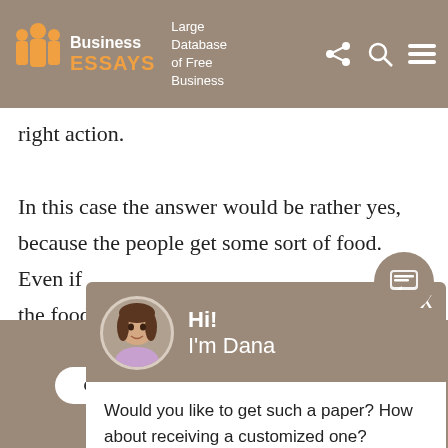Business ESSAYS — Large Database of Free Business
right action.

In this case the answer would be rather yes, because the people get some sort of food. Even if the food is dirty and pr... conditions, management... doubts that it's a ques... fact that in Tanzania a... lower from the Europe... have different objectiv... to find something to ea...
[Figure (screenshot): Chat popup with avatar of Dana saying 'Hi! I'm Dana' and asking 'Would you like to get such a paper? How about receiving a customized one? Check it out']
Haven't found the Essay You Want?
GET YOUR CUSTOM ESSAY SAMPLE
For Only $13.90/page